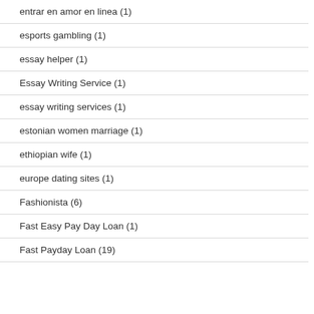entrar en amor en linea (1)
esports gambling (1)
essay helper (1)
Essay Writing Service (1)
essay writing services (1)
estonian women marriage (1)
ethiopian wife (1)
europe dating sites (1)
Fashionista (6)
Fast Easy Pay Day Loan (1)
Fast Payday Loan (19)